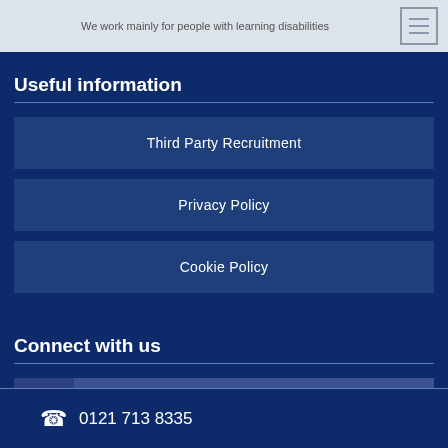We work mainly for people with learning disabilities
Useful information
Third Party Recruitment
Privacy Policy
Cookie Policy
Connect with us
Facebook
0121 713 8335